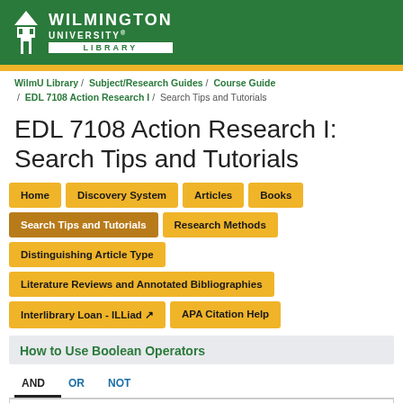[Figure (logo): Wilmington University Library logo on green background with gold bar below]
WilmU Library / Subject/Research Guides / Course Guide / EDL 7108 Action Research I / Search Tips and Tutorials
EDL 7108 Action Research I: Search Tips and Tutorials
Home
Discovery System
Articles
Books
Search Tips and Tutorials
Research Methods
Distinguishing Article Type
Literature Reviews and Annotated Bibliographies
Interlibrary Loan - ILLiad ↗
APA Citation Help
How to Use Boolean Operators
AND   OR   NOT
Boolean operators are words such as and, or, and not that you use to